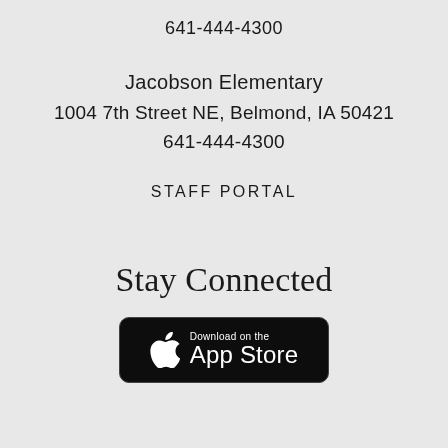641-444-4300
Jacobson Elementary
1004 7th Street NE, Belmond, IA 50421
641-444-4300
STAFF PORTAL
Stay Connected
[Figure (logo): Download on the App Store badge — black rounded rectangle with Apple logo and text 'Download on the App Store']